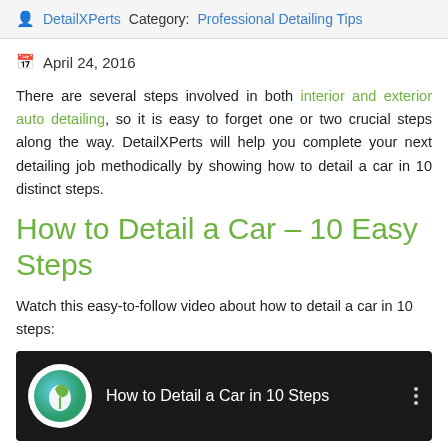DetailXPerts  Category: Professional Detailing Tips
April 24, 2016
There are several steps involved in both interior and exterior auto detailing, so it is easy to forget one or two crucial steps along the way. DetailXPerts will help you complete your next detailing job methodically by showing how to detail a car in 10 distinct steps.
How to Detail a Car – 10 Easy Steps
Watch this easy-to-follow video about how to detail a car in 10 steps:
[Figure (screenshot): YouTube video thumbnail titled 'How to Detail a Car in 10 Steps' with a circular icon showing a green leaf logo on a dark background]